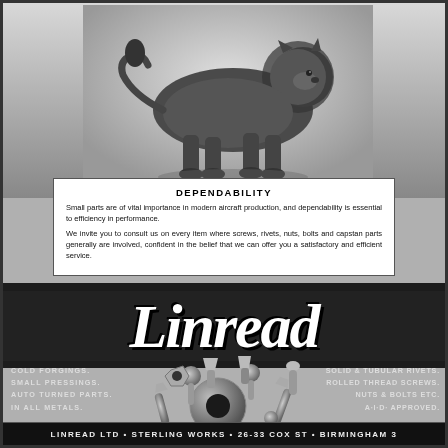[Figure (photo): Black and white photograph of a lion statue or sculpture, shown from the side against a light background]
DEPENDABILITY
Small parts are of vital importance in modern aircraft production, and dependability is essential to efficiency in performance.

We invite you to consult us on every item where screws, rivets, nuts, bolts and capstan parts generally are involved, confident in the belief that we can offer you a satisfactory and efficient service.
Linread
[Figure (photo): Black and white photograph of assorted metal hardware components including screws, bolts, rivets, nuts and a large washer/disc]
COLD FORGINGS.
SMALL PRESSINGS.
AUTO TURNED PARTS.
IN ALL METALS.
SOLID & TUBULAR RIVETS.
ROLLED THREAD SCREWS.
NUTS & BOLTS ETC.
A·I·D· APPROVED.
LINREAD LTD • STERLING WORKS • 26-33 COX ST • BIRMINGHAM 3